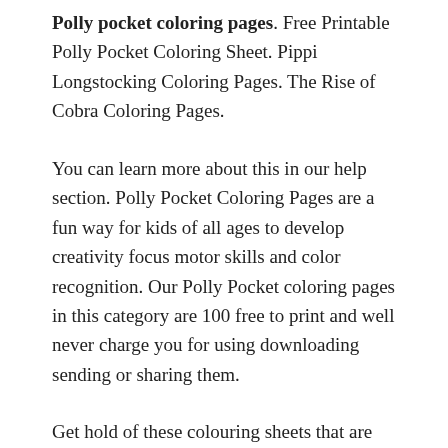Polly pocket coloring pages. Free Printable Polly Pocket Coloring Sheet. Pippi Longstocking Coloring Pages. The Rise of Cobra Coloring Pages.
You can learn more about this in our help section. Polly Pocket Coloring Pages are a fun way for kids of all ages to develop creativity focus motor skills and color recognition. Our Polly Pocket coloring pages in this category are 100 free to print and well never charge you for using downloading sending or sharing them.
Get hold of these colouring sheets that are full